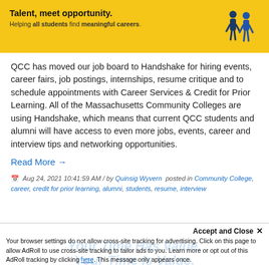[Figure (illustration): Yellow banner with 'Talent, meet opportunity.' heading and illustrated figures of people walking, representing Handshake career platform branding.]
QCC has moved our job board to Handshake for hiring events, career fairs, job postings, internships, resume critique and to schedule appointments with Career Services & Credit for Prior Learning. All of the Massachusetts Community Colleges are using Handshake, which means that current QCC students and alumni will have access to even more jobs, events, career and interview tips and networking opportunities.
Read More →
Aug 24, 2021 10:41:59 AM / by Quinsig Wyvern posted in Community College, career, credit for prior learning, alumni, students, resume, interview
Accept and Close ×
Your browser settings do not allow cross-site tracking for advertising. Click on this page to allow AdRoll to use cross-site tracking to tailor ads to you. Learn more or opt out of this AdRoll tracking by clicking here. This message only appears once.